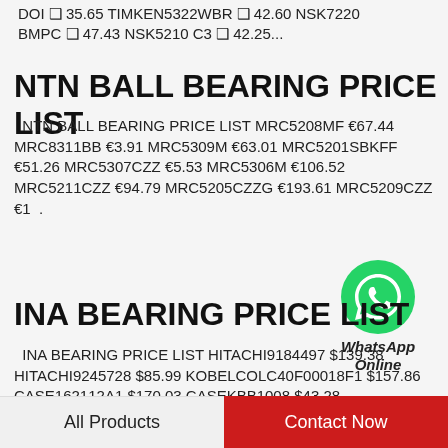DOI ❑ 35.65 TIMKEN5322WBR ❑ 42.60 NSK7220 BMPC ❑ 47.43 NSK5210 C3 ❑ 42.25...
NTN BALL BEARING PRICE LIST
NTN BALL BEARING PRICE LIST MRC5208MF €67.44 MRC8311BB €3.91 MRC5309M €63.01 MRC5201SBKFF €51.26 MRC5307CZZ €5.53 MRC5306M €106.52 MRC5211CZZ €94.79 MRC5205CZZG €193.61 MRC5209CZZ €10...
[Figure (logo): WhatsApp green circle logo icon with phone handset symbol]
WhatsApp Online
INA BEARING PRICE LIST
INA BEARING PRICE LIST HITACHI9184497 $139.38 HITACHI9245728 $85.99 KOBELCOLC40F00018F1 $157.86 CASE162112A1 $170.03 CASEKBB1008 $43.28 HITACHI9154037 $98.50 KOBELCOYY40F00009F1 $11.49
All Products    Contact Now